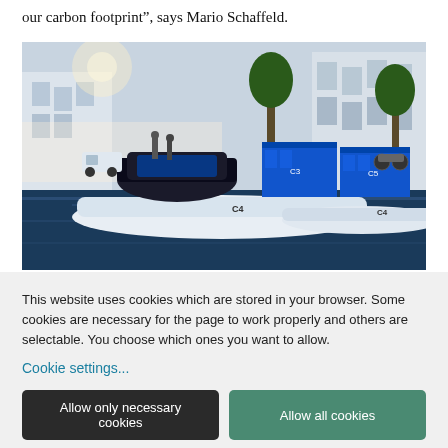our carbon footprint”, says Mario Schaffeld.
[Figure (photo): Futuristic autonomous floating transport pods on water in an urban canal setting. Blue cargo containers labeled C3 and C5 sit atop flat white autonomous boat platforms labeled C4. City buildings and trees visible in background.]
This website uses cookies which are stored in your browser. Some cookies are necessary for the page to work properly and others are selectable. You choose which ones you want to allow.
Cookie settings...
Allow only necessary cookies
Allow all cookies